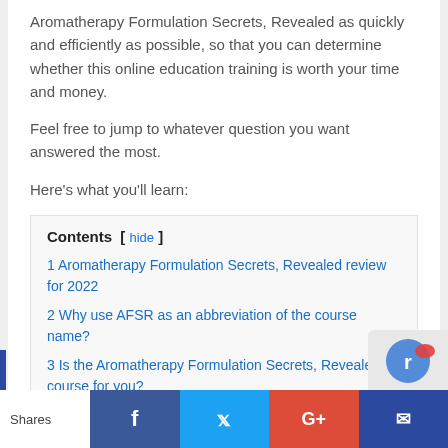Aromatherapy Formulation Secrets, Revealed as quickly and efficiently as possible, so that you can determine whether this online education training is worth your time and money.
Feel free to jump to whatever question you want answered the most.
Here's what you'll learn:
Contents [ hide ]
1 Aromatherapy Formulation Secrets, Revealed review for 2022
2 Why use AFSR as an abbreviation of the course name?
3 Is the Aromatherapy Formulation Secrets, Revealed course for you?
Shares | Facebook | Twitter | G+ | Email